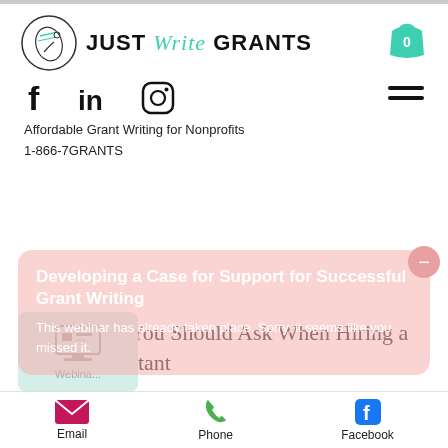[Figure (logo): Just Write Grants logo with hand-writing circle icon and text 'JUST Write GRANTS']
[Figure (infographic): Social media icons: Facebook, LinkedIn, Instagram; hamburger menu icon on right]
Affordable Grant Writing for Nonprofits
1-866-7GRANTS
Developing a Case for Support for Successful Grant Writing
This webinar has already taken place. Sorry, it seems like you missed it.
5 Questions You Should Ask When Hiring a Grant Consultant
Hiring a grant consultant is a big step for any nonprofit. You're ready to add
[Figure (screenshot): Webinar thumbnail with monitor icon]
[Figure (infographic): Bottom action bar with Email, Phone, Facebook icons]